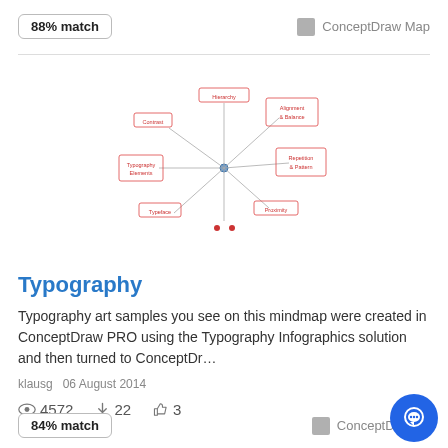88% match
ConceptDraw Map
[Figure (other): Mind map diagram showing a central node with multiple branching nodes, rendered in red/pink text on a white background]
Typography
Typography art samples you see on this mindmap were created in ConceptDraw PRO using the Typography Infographics solution and then turned to ConceptDr...
klausg  06 August 2014
4572   22   3
84% match
ConceptDraw M...